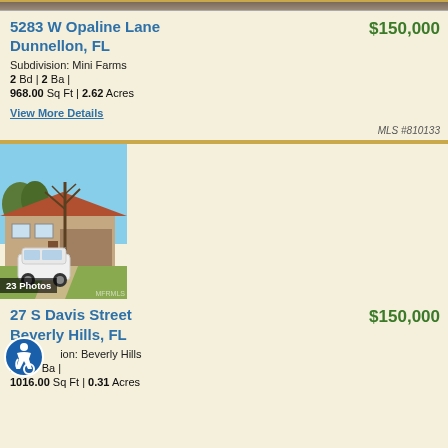[Figure (photo): Partial top of property image cut off at top of page]
5283 W Opaline Lane Dunnellon, FL
$150,000
Subdivision: Mini Farms
2 Bd | 2 Ba |
968.00 Sq Ft | 2.62 Acres
View More Details
MLS #810133
[Figure (photo): Exterior photo of single-story ranch home with white SUV in driveway, bare tree in center, blue sky. Label: 23 Photos]
27 S Davis Street Beverly Hills, FL
$150,000
Subdivision: Beverly Hills
2 Bd | 2 Ba |
1016.00 Sq Ft | 0.31 Acres